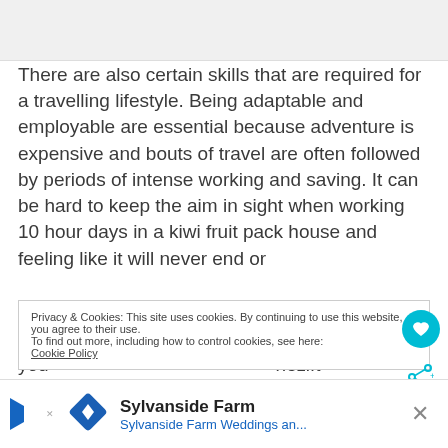[Figure (photo): Top image area, partially visible, light gray placeholder]
There are also certain skills that are required for a travelling lifestyle. Being adaptable and employable are essential because adventure is expensive and bouts of travel are often followed by periods of intense working and saving. It can be hard to keep the aim in sight when working 10 hour days in a kiwi fruit pack house and feeling like it will never end or
Privacy & Cookies: This site uses cookies. By continuing to use this website, you agree to their use.
To find out more, including how to control cookies, see here:
Cookie Policy
Sylvanside Farm
Sylvanside Farm Weddings an...